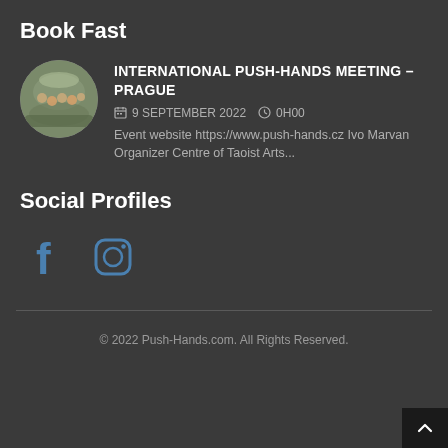Book Fast
[Figure (photo): Circular photo of a group of people outdoors]
INTERNATIONAL PUSH-HANDS MEETING – PRAGUE
9 SEPTEMBER 2022  0H00
Event website https://www.push-hands.cz Ivo Marvan Organizer Centre of Taoist Arts...
Social Profiles
[Figure (logo): Facebook icon (f) in blue]
[Figure (logo): Instagram icon in blue]
© 2022 Push-Hands.com. All Rights Reserved.